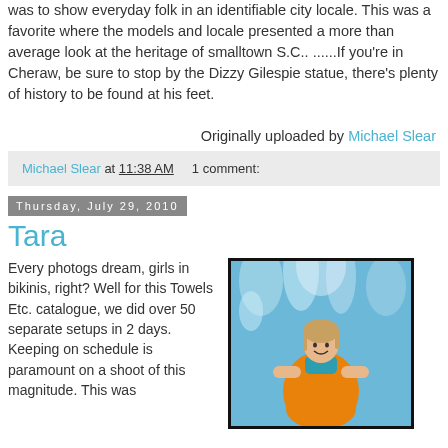was to show everyday folk in an identifiable city locale. This was a favorite where the models and locale presented a more than average look at the heritage of smalltown S.C.. ......If you're in Cheraw, be sure to stop by the Dizzy Gilespie statue, there's plenty of history to be found at his feet.   Originally uploaded by Michael Slear
Michael Slear at 11:38 AM   1 comment:
Thursday, July 29, 2010
Tara
Every photogs dream, girls in bikinis, right? Well for this Towels Etc. catalogue, we did over 50 separate setups in 2 days. Keeping on schedule is paramount on a shoot of this magnitude. This was
[Figure (photo): Woman in bikini at water park holding orange towel, water splashing in background]